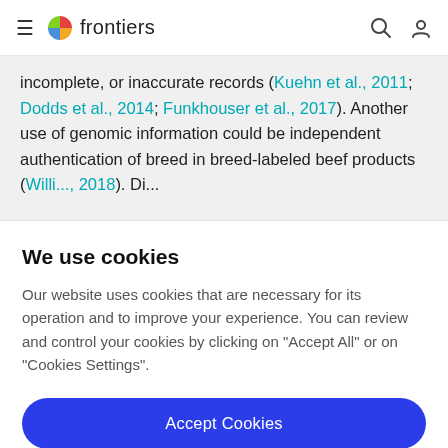frontiers
incomplete, or inaccurate records (Kuehn et al., 2011; Dodds et al., 2014; Funkhouser et al., 2017). Another use of genomic information could be independent authentication of breed in breed-labeled beef products (Williams, 2018). Direct...
We use cookies
Our website uses cookies that are necessary for its operation and to improve your experience. You can review and control your cookies by clicking on "Accept All" or on "Cookies Settings".
Accept Cookies
Cookies Settings